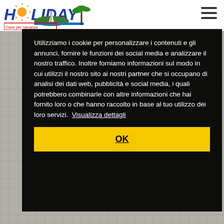[Figure (logo): Holiday logo with sun, palm tree, sailboat and text 'HOLIDAY Case per Vacanze']
Utilizziamo i cookie per personalizzare i contenuti e gli annunci, fornire le funzioni dei social media e analizzare il nostro traffico. Inoltre forniamo informazioni sul modo in cui utilizzi il nostro sito ai nostri partner che si occupano di analisi dei dati web, pubblicità e social media, i quali potrebbero combinarle con altre informazioni che hai fornito loro o che hanno raccolto in base al tuo utilizzo dei loro servizi. Visualizza dettagli
OK